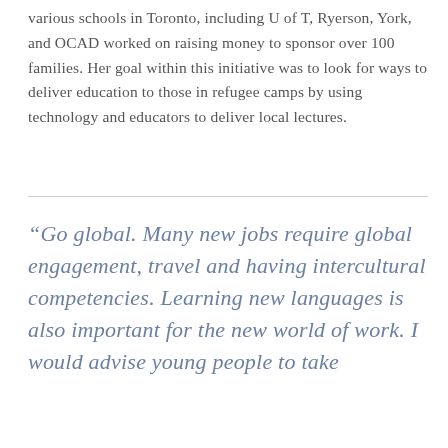various schools in Toronto, including U of T, Ryerson, York, and OCAD worked on raising money to sponsor over 100 families. Her goal within this initiative was to look for ways to deliver education to those in refugee camps by using technology and educators to deliver local lectures.
“Go global. Many new jobs require global engagement, travel and having intercultural competencies. Learning new languages is also important for the new world of work. I would advise young people to take